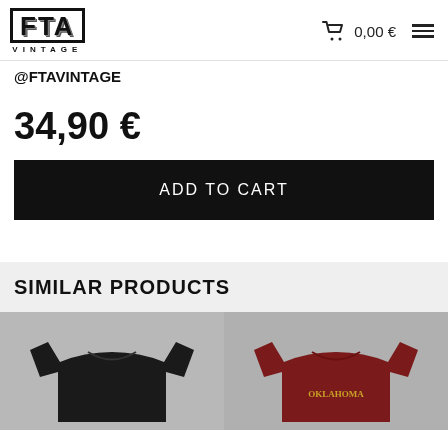FTA VINTAGE | 0,00 €
@FTAVINTAGE
34,90 €
ADD TO CART
SIMILAR PRODUCTS
[Figure (photo): Two product photos side by side: left shows a black t-shirt on a light grey background, right shows a dark red/maroon t-shirt on a light grey background with gold text.]